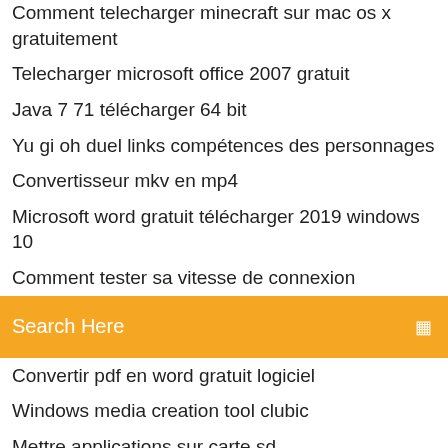Comment telecharger minecraft sur mac os x gratuitement
Telecharger microsoft office 2007 gratuit
Java 7 71 télécharger 64 bit
Yu gi oh duel links compétences des personnages
Convertisseur mkv en mp4
Microsoft word gratuit télécharger 2019 windows 10
Comment tester sa vitesse de connexion
[Figure (screenshot): Orange search bar with placeholder text 'Search Here' and a search icon on the right]
Convertir pdf en word gratuit logiciel
Windows media creation tool clubic
Mettre applications sur carte sd
Day of the tentacle 2
Farming simulator 18 pc descargar gratis
Reparer media player 12 windows 7
Enregistrer video sur iphone 8
Barre des taches windows 7 reste bloquée
Comment savoir si un jeu tourne sur son pc
Lg pc suite ii